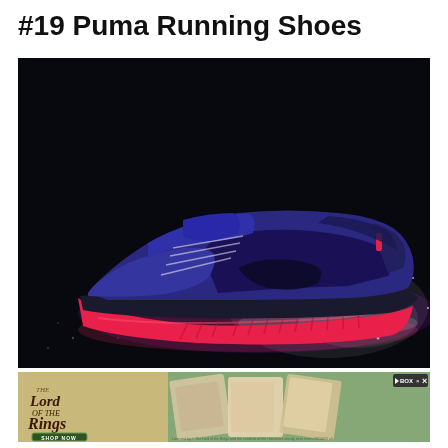#19 Puma Running Shoes
[Figure (photo): A Puma running shoe with blue/navy upper and bright red/pink sole, shown against a dark background with sparkles and light effects.]
[Figure (photo): Advertisement banner for 'The Lord of the Rings' themed product (BOX.FIVE), showing the LOTR logo on the left and product images on the right with a 'SHOP NOW' button.]